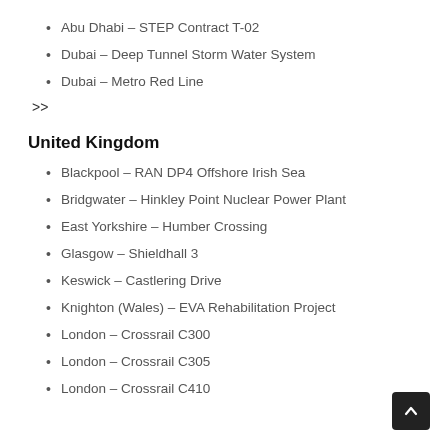Abu Dhabi – STEP Contract T-02
Dubai – Deep Tunnel Storm Water System
Dubai – Metro Red Line
>>
United Kingdom
Blackpool – RAN DP4 Offshore Irish Sea
Bridgwater – Hinkley Point Nuclear Power Plant
East Yorkshire – Humber Crossing
Glasgow – Shieldhall 3
Keswick – Castlering Drive
Knighton (Wales) – EVA Rehabilitation Project
London – Crossrail C300
London – Crossrail C305
London – Crossrail C410